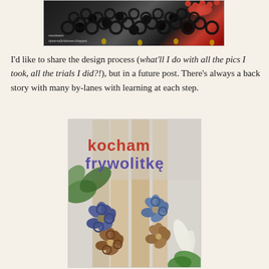[Figure (photo): Close-up photo of black tatting lace jewelry with red beads and gold bells, with watermark text 'muskaan' and blog URL]
I'd like to share the design process (what'll I do with all the pics I took, all the trials I did?!), but in a future post. There's always a back story with many by-lanes with learning at each step.
[Figure (photo): Photo of tatted lace flower brooches in blue and brown colors arranged on wooden sticks with green leaves, with text overlay reading 'kocham frywolitkę']